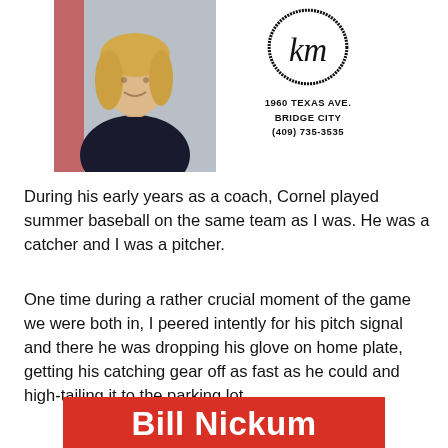[Figure (photo): Photo of a woman with blonde hair wearing a dark top, alongside a 'km' logo with address: 1960 TEXAS AVE., BRIDGE CITY, (409) 735-3535]
During his early years as a coach, Cornel played summer baseball on the same team as I was. He was a catcher and I was a pitcher.
One time during a rather crucial moment of the game we were both in, I peered intently for his pitch signal and there he was dropping his glove on home plate, getting his catching gear off as fast as he could and high-tailing it to the parking lot.
[Figure (logo): Bill Nickum red banner logo with white bold text]